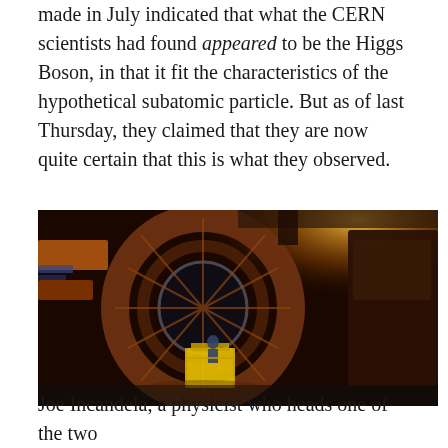made in July indicated that what the CERN scientists had found appeared to be the Higgs Boson, in that it fit the characteristics of the hypothetical subatomic particle. But as of last Thursday, they claimed that they are now quite certain that this is what they observed.
[Figure (photo): Large Hadron Collider detector interior at CERN — a massive circular machine with copper/brown metallic rings and a yellow platform where a worker stands, photographed from inside the detector cavern with warm overhead lighting.]
Joe Incandela, a physicist who heads one of the two